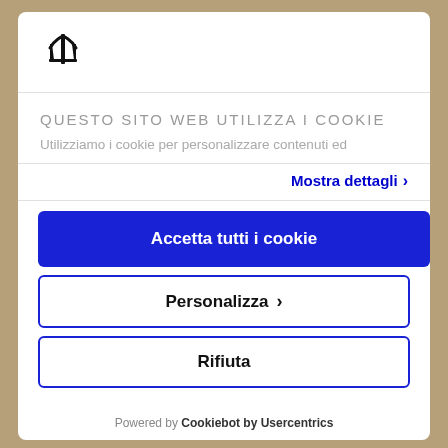[Figure (logo): Maserati trident logo in black]
QUESTO SITO WEB UTILIZZA I COOKIE
Utilizziamo i cookie per personalizzare contenuti ed
Mostra dettagli >
Accetta tutti i cookie
Personalizza >
Rifiuta
Powered by Cookiebot by Usercentrics